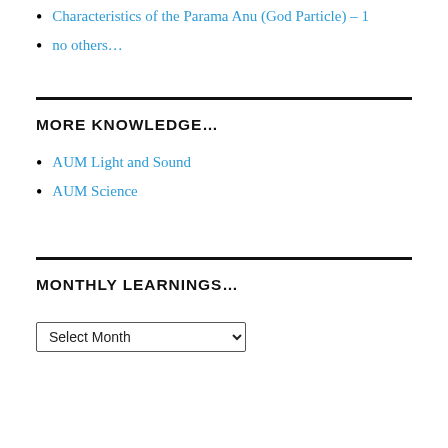Characteristics of the Parama Anu (God Particle) – 1
no others…
MORE KNOWLEDGE…
AUM Light and Sound
AUM Science
MONTHLY LEARNINGS…
Select Month